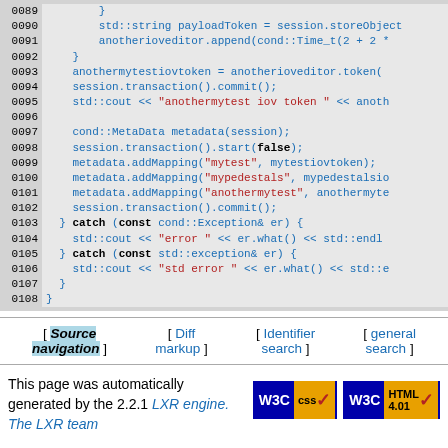[Figure (screenshot): Source code listing lines 0089-0108 showing C++ code with syntax highlighting on gray background. Blue line numbers on left, code in blue/red/black on light gray background.]
[ Source navigation ]
[ Diff markup ]
[ Identifier search ]
[ general search ]
This page was automatically generated by the 2.2.1 LXR engine. The LXR team
[Figure (logo): W3C CSS validation badge]
[Figure (logo): W3C HTML 4.01 validation badge]